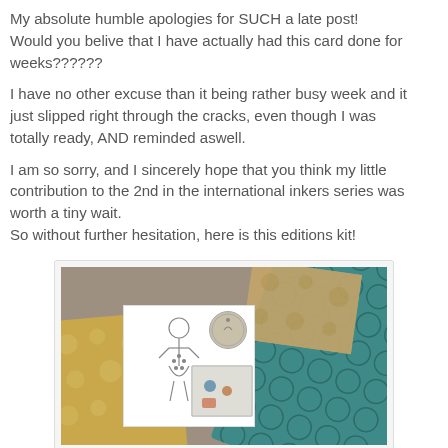My absolute humble apologies for SUCH a late post! Would you belive that I have actually had this card done for weeks??????

I have no other excuse than it being rather busy week and it just slipped right through the cracks, even though I was totally ready, AND reminded aswell.

I am so sorry, and I sincerely hope that you think my little contribution to the 2nd in the international inkers series was worth a tiny wait.
So without further hesitation, here is this editions kit!
[Figure (photo): A craft supply kit photo showing patterned papers in gold/kraft colors, a white card with a hand-drawn figure sketch, teal crocheted lace trim diagonally across the image, small embellishments and buttons in a bag, and a circular tag.]